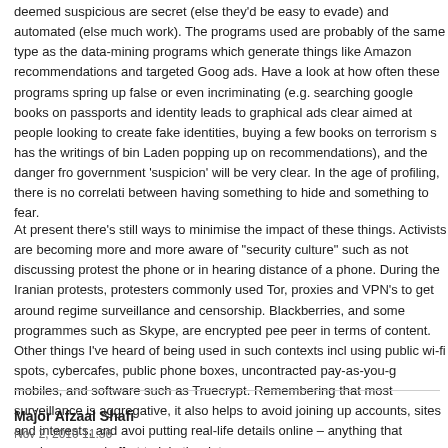deemed suspicious are secret (else they'd be easy to evade) and automated (else much work). The programs used are probably of the same type as the data-mining programs which generate things like Amazon recommendations and targeted Google ads. Have a look at how often these programs spring up false or even incriminating (e.g. searching google books on passports and identity leads to graphical ads clearly aimed at people looking to create fake identities, buying a few books on terrorism somehow has the writings of bin Laden popping up on recommendations), and the danger from government 'suspicion' will be very clear. In the age of profiling, there is no correlation between having something to hide and something to fear.
At present there's still ways to minimise the impact of these things. Activists are becoming more and more aware of "security culture" such as not discussing protests on the phone or in hearing distance of a phone. During the Iranian protests, protesters commonly used Tor, proxies and VPN's to get around regime surveillance and censorship. Blackberries, and some programmes such as Skype, are encrypted peer to peer in terms of content. Other things I've heard of being used in such contexts include using public wi-fi spots, cybercafes, public phone boxes, uncontracted pay-as-you-go mobiles, and software such as Truecrypt. Remembering that most surveillance is aggregative, it also helps to avoid joining up accounts, sites and interests, and avoid putting real-life details online – anything that requires manual effort to join the dots.
Major Afzaal Shafi
Nov 2, 2010 11:36